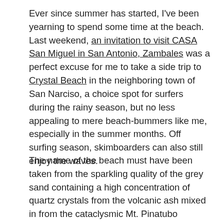Ever since summer has started, I've been yearning to spend some time at the beach. Last weekend, an invitation to visit CASA San Miguel in San Antonio, Zambales was a perfect excuse for me to take a side trip to Crystal Beach in the neighboring town of San Narciso, a choice spot for surfers during the rainy season, but no less appealing to mere beach-bummers like me, especially in the summer months. Off surfing season, skimboarders can also still enjoy the waves.
The name of the beach must have been taken from the sparkling quality of the grey sand containing a high concentration of quartz crystals from the volcanic ash mixed in from the cataclysmic Mt. Pinatubo eruption in 1991. Like Puerto Galera and Bolinao, San Narciso makes for a great beach getaway from Manila, since it's only four to five hours from the metropolis.
[Figure (photo): Partial view of a beach photo, showing a light blue sky and possibly water or sand. The image is cropped at the bottom of the page.]